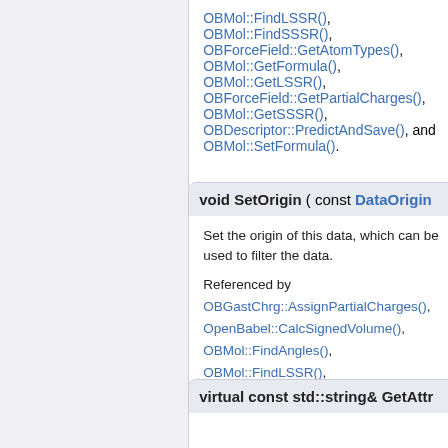OBMol::FindLSSR(), OBMol::FindSSSR(), OBForceField::GetAtomTypes(), OBMol::GetFormula(), OBMol::GetLSSR(), OBForceField::GetPartialCharges(), OBMol::GetSSSR(), OBDescriptor::PredictAndSave(), and OBMol::SetFormula().
void SetOrigin ( const DataOrigin
Set the origin of this data, which can be used to filter the data.
Referenced by OBGastChrg::AssignPartialCharges(), OpenBabel::CalcSignedVolume(), OBMol::FindAngles(), OBMol::FindLSSR(), OBMol::FindSSSR(), OBMol::FindTorsions(), OBMol::GetFormula(), OBMol::GetLSSR(), OBMol::GetSSSR(), OBDescriptor::PredictAndSave(), and OBMol::SetFormula().
virtual const std::string& GetAttr